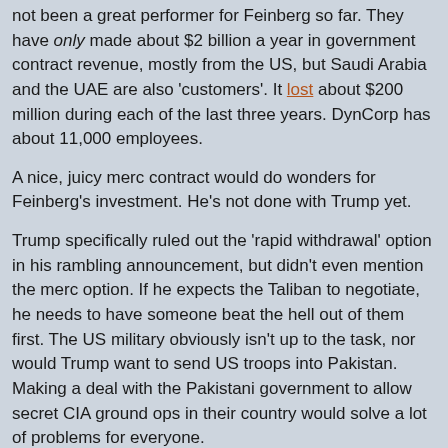not been a great performer for Feinberg so far. They have only made about $2 billion a year in government contract revenue, mostly from the US, but Saudi Arabia and the UAE are also 'customers'. It lost about $200 million during each of the last three years. DynCorp has about 11,000 employees.
A nice, juicy merc contract would do wonders for Feinberg's investment. He's not done with Trump yet.
Trump specifically ruled out the 'rapid withdrawal' option in his rambling announcement, but didn't even mention the merc option. If he expects the Taliban to negotiate, he needs to have someone beat the hell out of them first. The US military obviously isn't up to the task, nor would Trump want to send US troops into Pakistan. Making a deal with the Pakistani government to allow secret CIA ground ops in their country would solve a lot of problems for everyone.
Posted by: PavewayIV | Aug 22 2017 5:38 utc | 45
The Atlantic has a pretty comprehensive write up of Trump's nothing burger announcement.
Trump's Plan for Afghanistan: No Timeline for Exit
Despite prime-time billing for the president's announcement, Americans heard a familiar argument about extending the